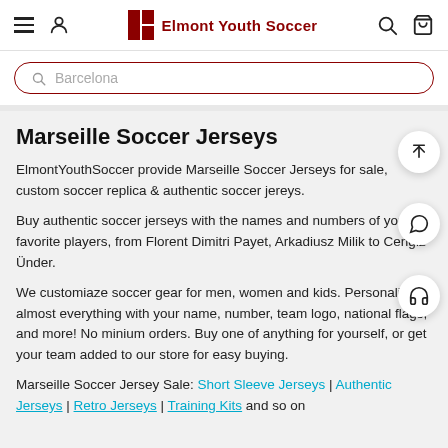Elmont Youth Soccer — navigation header with hamburger menu, user icon, logo, search icon, cart icon
Barcelona (search bar)
Marseille Soccer Jerseys
ElmontYouthSoccer provide Marseille Soccer Jerseys for sale, custom soccer replica & authentic soccer jereys.
Buy authentic soccer jerseys with the names and numbers of your favorite players, from Florent Dimitri Payet, Arkadiusz Milik to Cengiz Ünder.
We customiaze soccer gear for men, women and kids. Personalize almost everything with your name, number, team logo, national flags, and more! No minium orders. Buy one of anything for yourself, or get your team added to our store for easy buying.
Marseille Soccer Jersey Sale: Short Sleeve Jerseys | Authentic Jerseys | Retro Jerseys | Training Kits and so on